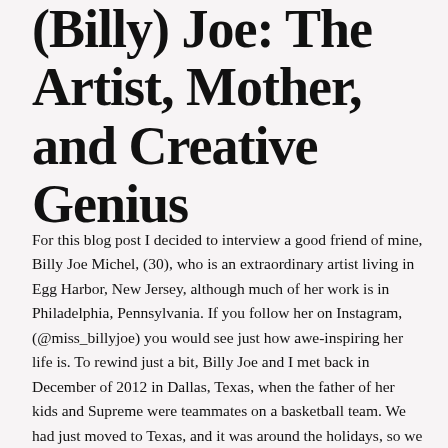(Billy) Joe: The Artist, Mother, and Creative Genius
For this blog post I decided to interview a good friend of mine, Billy Joe Michel, (30), who is an extraordinary artist living in Egg Harbor, New Jersey, although much of her work is in Philadelphia, Pennsylvania. If you follow her on Instagram, (@miss_billyjoe) you would see just how awe-inspiring her life is. To rewind just a bit, Billy Joe and I met back in December of 2012 in Dallas, Texas, when the father of her kids and Supreme were teammates on a basketball team. We had just moved to Texas, and it was around the holidays, so we had a small get-together at our home, and BJ and her family came.